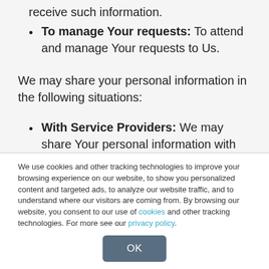receive such information.
To manage Your requests: To attend and manage Your requests to Us.
We may share your personal information in the following situations:
With Service Providers: We may share Your personal information with Service Providers to
We use cookies and other tracking technologies to improve your browsing experience on our website, to show you personalized content and targeted ads, to analyze our website traffic, and to understand where our visitors are coming from. By browsing our website, you consent to our use of cookies and other tracking technologies. For more see our privacy policy.